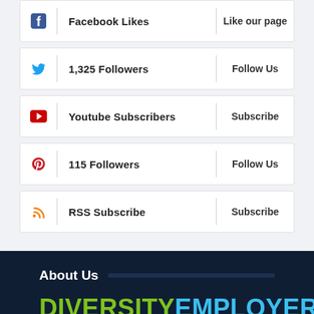Facebook Likes | Like our page
1,325 Followers | Follow Us
Youtube Subscribers | Subscribe
115 Followers | Follow Us
RSS Subscribe | Subscribe
About Us
[Figure (logo): Diversity Employer logo in green and cyan text]
What is Diversity Employer?
For over 15 years our bi-monthly Magazine has been a premier tool